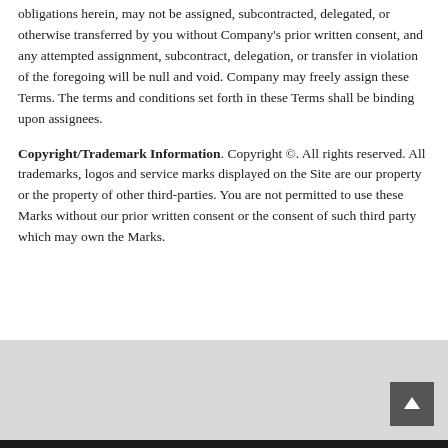obligations herein, may not be assigned, subcontracted, delegated, or otherwise transferred by you without Company's prior written consent, and any attempted assignment, subcontract, delegation, or transfer in violation of the foregoing will be null and void. Company may freely assign these Terms. The terms and conditions set forth in these Terms shall be binding upon assignees.
Copyright/Trademark Information. Copyright ©. All rights reserved. All trademarks, logos and service marks displayed on the Site are our property or the property of other third-parties. You are not permitted to use these Marks without our prior written consent or the consent of such third party which may own the Marks.